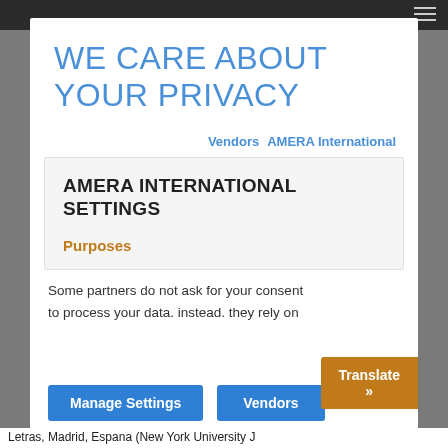WE CARE ABOUT YOUR PRIVACY
Vendors  AMERA International
AMERA INTERNATIONAL SETTINGS
Purposes
Some partners do not ask for your consent to process your data. instead. they rely on
Manage Settings   Vendors
Letras, Madrid, Espana (New York University J